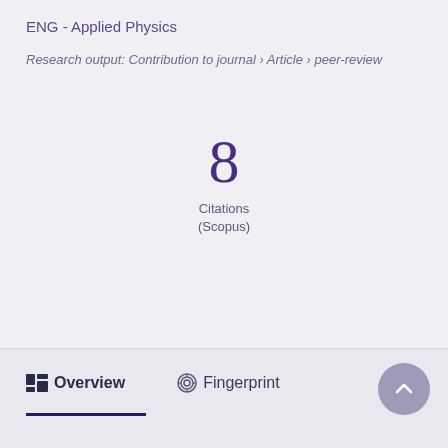ENG - Applied Physics
Research output: Contribution to journal › Article › peer-review
8
Citations
(Scopus)
Overview   Fingerprint